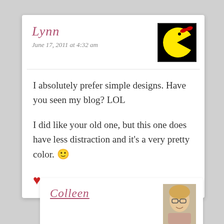Lynn
June 17, 2011 at 4:32 am
[Figure (illustration): Pac-Man style avatar: yellow pac-man character with red bow on black background]
I absolutely prefer simple designs. Have you seen my blog? LOL

I did like your old one, but this one does have less distraction and it’s a very pretty color. 🙂

♥
Colleen
[Figure (photo): Photo of a woman with glasses and blonde hair]